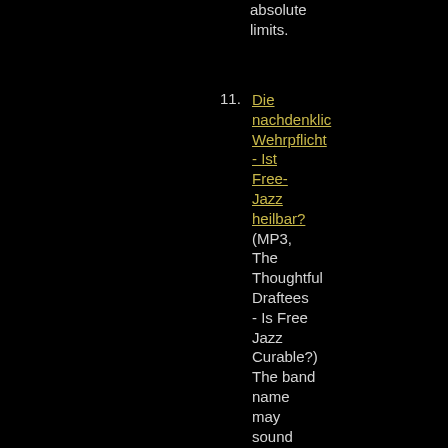absolute limits.
Die nachdenkliche Wehrpflicht - Ist Free-Jazz heilbar? (MP3, The Thoughtful Draftees - Is Free Jazz Curable?) The band name may sound ridiculous and obviously